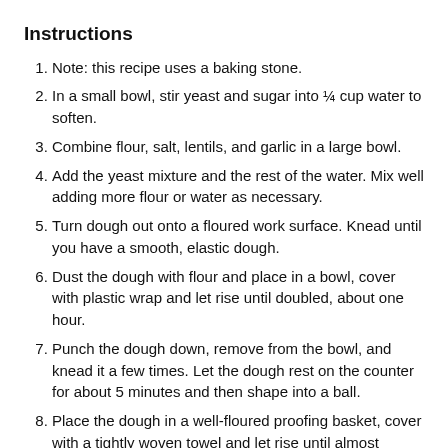Instructions
Note: this recipe uses a baking stone.
In a small bowl, stir yeast and sugar into ¼ cup water to soften.
Combine flour, salt, lentils, and garlic in a large bowl.
Add the yeast mixture and the rest of the water. Mix well adding more flour or water as necessary.
Turn dough out onto a floured work surface. Knead until you have a smooth, elastic dough.
Dust the dough with flour and place in a bowl, cover with plastic wrap and let rise until doubled, about one hour.
Punch the dough down, remove from the bowl, and knead it a few times. Let the dough rest on the counter for about 5 minutes and then shape into a ball.
Place the dough in a well-floured proofing basket, cover with a tightly woven towel and let rise until almost doubled, about 45 minutes.